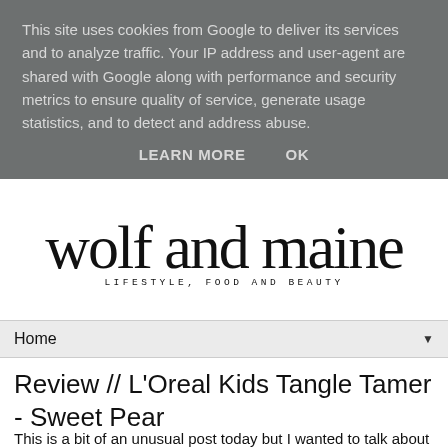This site uses cookies from Google to deliver its services and to analyze traffic. Your IP address and user-agent are shared with Google along with performance and security metrics to ensure quality of service, generate usage statistics, and to detect and address abuse.
LEARN MORE    OK
[Figure (logo): wolf and maine blog logo with cursive text 'wolf and maine' and subtitle 'LIFESTYLE, FOOD AND BEAUTY']
Home ▼
Review // L'Oreal Kids Tangle Tamer - Sweet Pear
This is a bit of an unusual post today but I wanted to talk about the L'Oreal Kids Tangle Tamer for Wet & Dry Hair,